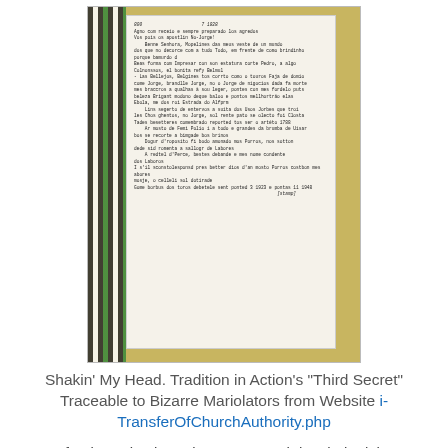[Figure (photo): Photograph of a handwritten letter on white paper, placed on a yellow and green knitted or woven textile background. The letter appears to be written in Portuguese cursive script.]
Shakin' My Head. Tradition in Action's "Third Secret" Traceable to Bizarre Mariolators from Website i-TransferOfChurchAuthority.php
After investigation, Sister Lucy Truth has halted the Investigation into the Handwriting Analysis of the "Third Secret" Advertised by Tradition in Action. Everything about the origin of this letter and source